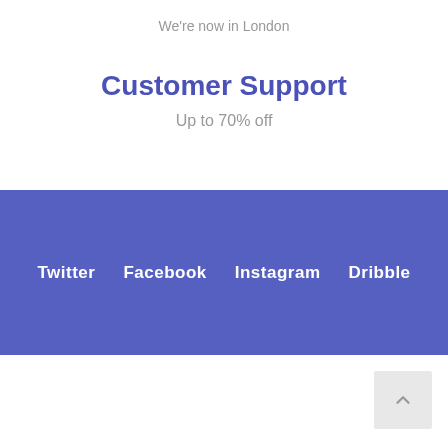We're now in London
Customer Support
Up to 70% off
Twitter  Facebook  Instagram  Dribble
Mega Store